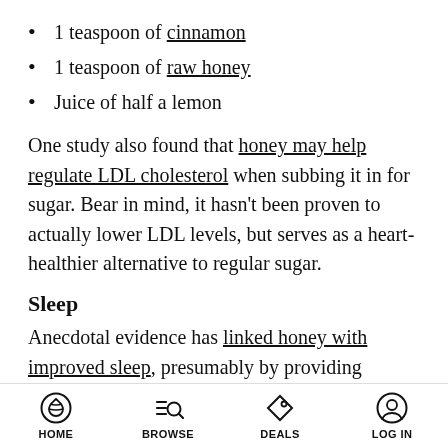1 teaspoon of cinnamon
1 teaspoon of raw honey
Juice of half a lemon
One study also found that honey may help regulate LDL cholesterol when subbing it in for sugar. Bear in mind, it hasn't been proven to actually lower LDL levels, but serves as a heart-healthier alternative to regular sugar.
Sleep
Anecdotal evidence has linked honey with improved sleep, presumably by providing adequate glycogen to the liver while the body
HOME  BROWSE  DEALS  LOG IN